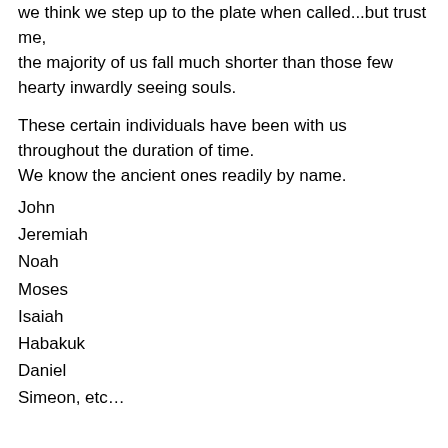we think we step up to the plate when called...but trust me, the majority of us fall much shorter than those few hearty inwardly seeing souls.
These certain individuals have been with us throughout the duration of time. We know the ancient ones readily by name.
John
Jeremiah
Noah
Moses
Isaiah
Habakuk
Daniel
Simeon, etc…